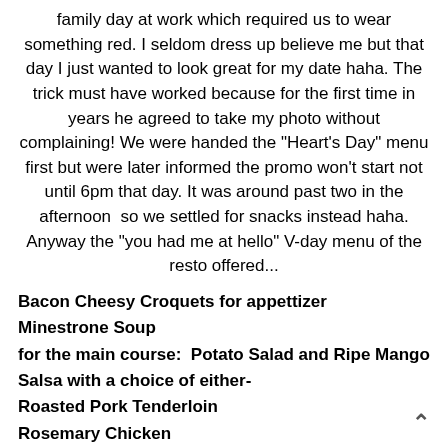family day at work which required us to wear something red. I seldom dress up believe me but that day I just wanted to look great for my date haha. The trick must have worked because for the first time in years he agreed to take my photo without complaining! We were handed the "Heart's Day" menu first but were later informed the promo won't start not until 6pm that day. It was around past two in the afternoon  so we settled for snacks instead haha. Anyway the "you had me at hello" V-day menu of the resto offered...
Bacon Cheesy Croquets for appettizer
Minestrone Soup
for the main course:  Potato Salad and Ripe Mango Salsa with a choice of either-
Roasted Pork Tenderloin
Rosemary Chicken
Baked Tuna Steak
Dessert: Banana Caramel Ala Mode